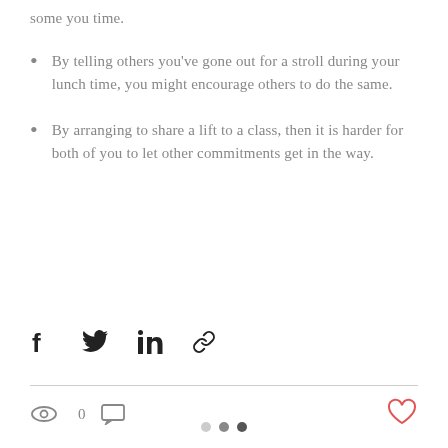some you time.
By telling others you've gone out for a stroll during your lunch time, you might encourage others to do the same.
By arranging to share a lift to a class, then it is harder for both of you to let other commitments get in the way.
[Figure (infographic): Social share icons: Facebook, Twitter, LinkedIn, and link/chain icon]
[Figure (infographic): Meta bar with eye/views icon showing 0 views, comment icon, and a heart (like) icon in red on the right]
[Figure (infographic): Three pagination dots: light gray, medium gray, dark gray]